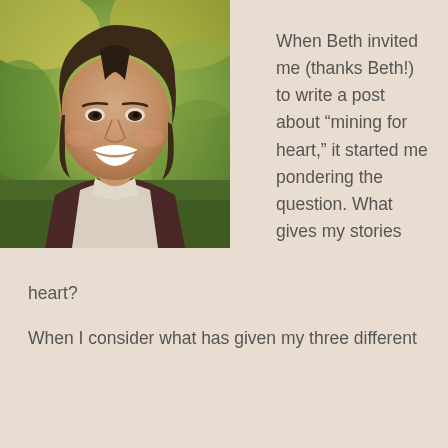[Figure (photo): Headshot of a smiling woman with short dark hair, wearing a collared shirt and vest, with autumn foliage in the background]
When Beth invited me (thanks Beth!) to write a post about “mining for heart,” it started me pondering the question. What gives my stories heart?
When I consider what has given my three different